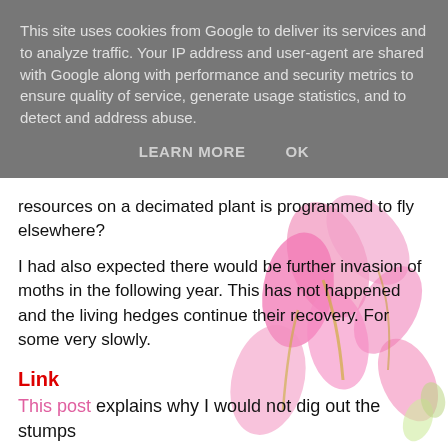This site uses cookies from Google to deliver its services and to analyze traffic. Your IP address and user-agent are shared with Google along with performance and security metrics to ensure quality of service, generate usage statistics, and to detect and address abuse.
LEARN MORE    OK
resources on a decimated plant is programmed to fly elsewhere?
I had also expected there would be further invasion of moths in the following year. This has not happened and the living hedges continue their recovery. For some very slowly.
Link
This post explains why I would not dig out the stumps
End days
Final Report on Peter’s box Hedge June 2018